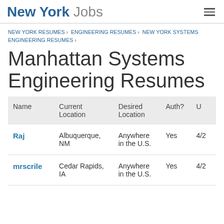New York Jobs
NEW YORK RESUMES › ENGINEERING RESUMES › NEW YORK SYSTEMS ENGINEERING RESUMES ›
Manhattan Systems Engineering Resumes
| Name | Current Location | Desired Location | Auth? | U |
| --- | --- | --- | --- | --- |
| Raj | Albuquerque, NM | Anywhere in the U.S. | Yes | 4/2 |
| mrscrile | Cedar Rapids, IA | Anywhere in the U.S. | Yes | 4/2 |